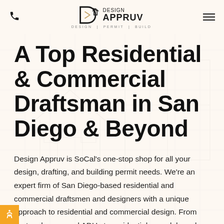Design Appruv — DESIGN | PERMIT | BUILD
A Top Residential & Commercial Draftsman in San Diego & Beyond
Design Appruv is SoCal's one-stop shop for all your design, drafting, and building permit needs. We're an expert firm of San Diego-based residential and commercial draftsmen and designers with a unique approach to residential and commercial design. From custom homes and ADUs to residential remodels and commercial spaces, we can get it done. And we'll do it on your timeline and